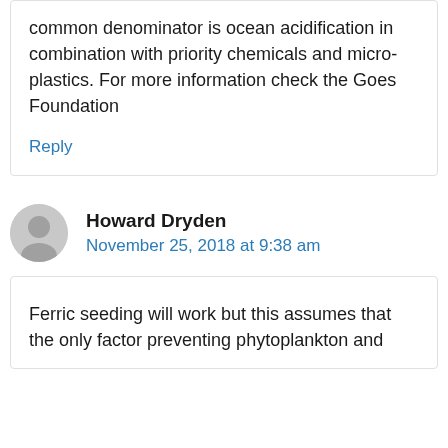common denominator is ocean acidification in combination with priority chemicals and micro-plastics. For more information check the Goes Foundation
Reply
Howard Dryden
November 25, 2018 at 9:38 am
Ferric seeding will work but this assumes that the only factor preventing phytoplankton and